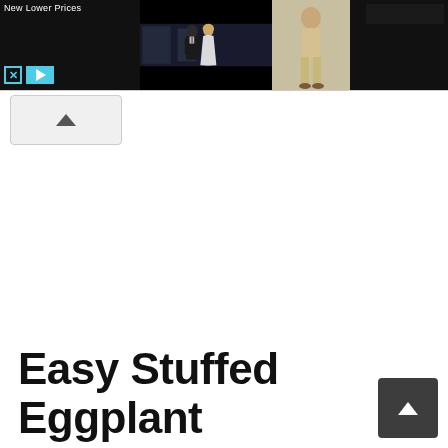[Figure (screenshot): Advertisement banner with dark background. Left section shows 'New Lower Prices' text with X and play controls. Center shows a couple in formal/wedding attire. Right shows a figure in light-colored clothing. Far right has a dark section with a black box.]
[Figure (screenshot): Collapse/hide advertisement button with an upward-pointing chevron on a light gray rounded rectangle background.]
Easy Stuffed Eggplant
[Figure (screenshot): Scroll-to-top button: dark gray square with white upward-pointing chevron arrow.]